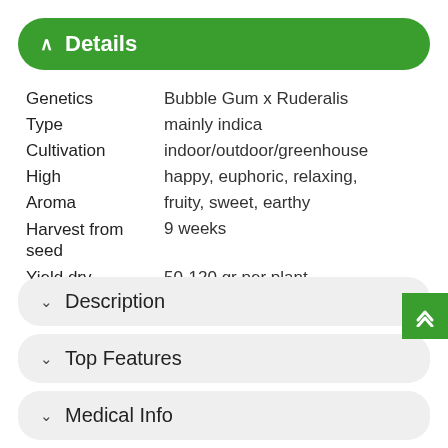^ Details
| Field | Value |
| --- | --- |
| Genetics | Bubble Gum x Ruderalis |
| Type | mainly indica |
| Cultivation | indoor/outdoor/greenhouse |
| High | happy, euphoric, relaxing, |
| Aroma | fruity, sweet, earthy |
| Harvest from seed | 9 weeks |
| Yield dry | 50-120 gr per plant |
| Plant height | medium |
Description
Top Features
Medical Info